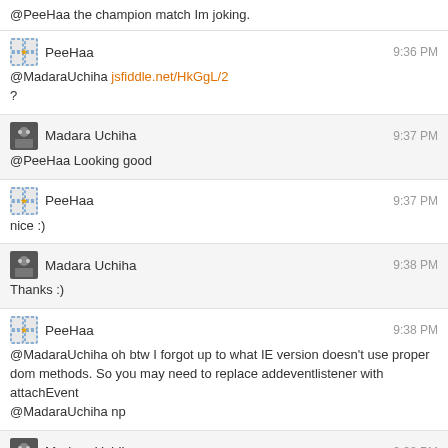@PeeHaa the champion match Im joking.
PeeHaa 9:36 PM
@MadaraUchiha jsfiddle.net/HkGgL/2
?
Madara Uchiha 9:37 PM
@PeeHaa Looking good
PeeHaa 9:37 PM
nice :)
Madara Uchiha 9:38 PM
Thanks :)
PeeHaa 9:38 PM
@MadaraUchiha oh btw I forgot up to what IE version doesn't use proper dom methods. So you may need to replace addeventlistener with attachEvent
@MadaraUchiha np
Madara Uchiha 9:38 PM
I'm using jQuery anyway, I'll just put it up using that
PeeHaa 9:39 PM
In that case you don't have to worry about it :)
Bracketworks 9:39 PM
Internet Explorer and MySQL should run off together into a volcano.